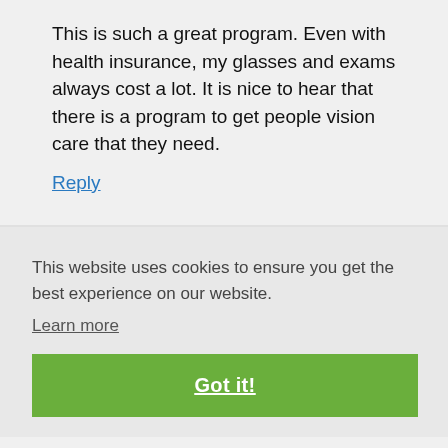This is such a great program. Even with health insurance, my glasses and exams always cost a lot. It is nice to hear that there is a program to get people vision care that they need.
Reply
This website uses cookies to ensure you get the best experience on our website.
Learn more
Got it!
...alt in size and being able to see smooth...